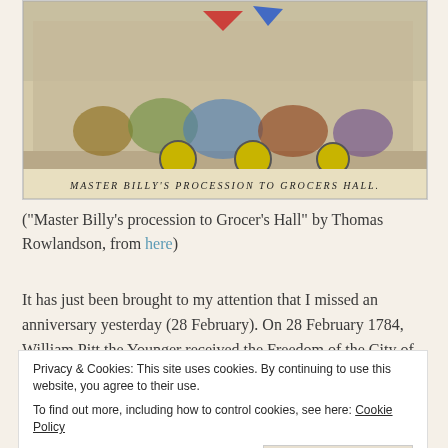[Figure (illustration): Historical cartoon illustration titled 'Master Billy's Procession to Grocers Hall' by Thomas Rowlandson, showing a procession scene with many figures in period costume.]
("Master Billy's procession to Grocer's Hall" by Thomas Rowlandson, from here)
It has just been brought to my attention that I missed an anniversary yesterday (28 February). On 28 February 1784, William Pitt the Younger received the Freedom of the City of London at a banquet held at Grocer's Hall. This was towards
Privacy & Cookies: This site uses cookies. By continuing to use this website, you agree to their use.
To find out more, including how to control cookies, see here: Cookie Policy
Close and accept
eloquence in Parliament, his reputation for purity, and